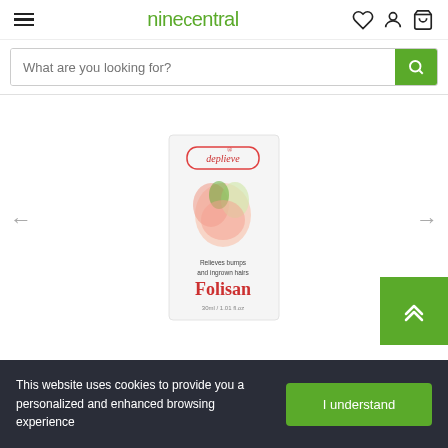ninecentral
What are you looking for?
[Figure (photo): Product image of Deplieve Folisan box - a product that relieves bumps and ingrown hairs, 30ml/1.01 fl oz]
This website uses cookies to provide you a personalized and enhanced browsing experience
I understand